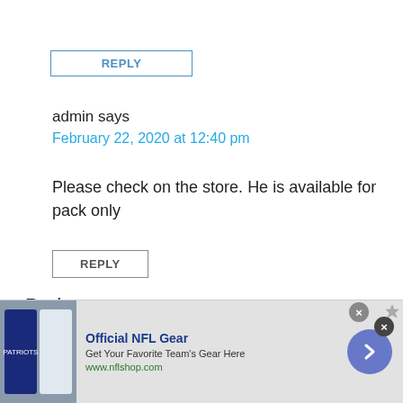REPLY
admin says
February 22, 2020 at 12:40 pm
Please check on the store. He is available for pack only
REPLY
Rock says
February 22, 2020 at 3:11 am
[Figure (screenshot): Advertisement banner for Official NFL Gear with team jersey image, text 'Get Your Favorite Team's Gear Here', url www.nflshop.com, and a blue arrow button]